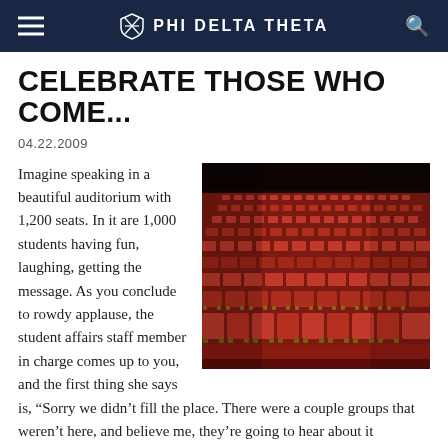PHI DELTA THETA
CELEBRATE THOSE WHO COME...
04.22.2009
[Figure (photo): Rows of empty red auditorium seats viewed from the front, with wooden armrests visible, in a large theater.]
Imagine speaking in a beautiful auditorium with 1,200 seats. In it are 1,000 students having fun, laughing, getting the message. As you conclude to rowdy applause, the student affairs staff member in charge comes up to you, and the first thing she says is, “Sorry we didn’t fill the place. There were a couple groups that weren’t here, and believe me, they’re going to hear about it tomorrow!"